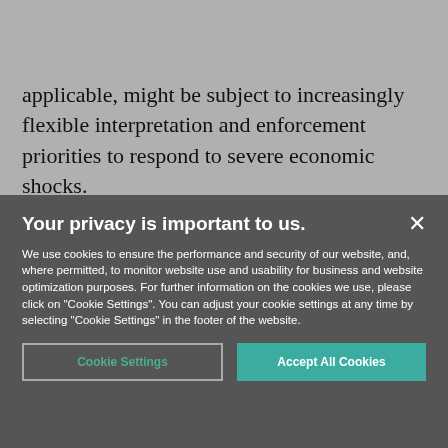M [logo] [share icon] [globe icon] [search icon] [menu icon]
applicable, might be subject to increasingly flexible interpretation and enforcement priorities to respond to severe economic shocks.
Your privacy is important to us.
We use cookies to ensure the performance and security of our website, and, where permitted, to monitor website use and usability for business and website optimization purposes. For further information on the cookies we use, please click on "Cookie Settings". You can adjust your cookie settings at any time by selecting "Cookie Settings" in the footer of the website.
Cookie Settings | Accept All Cookies